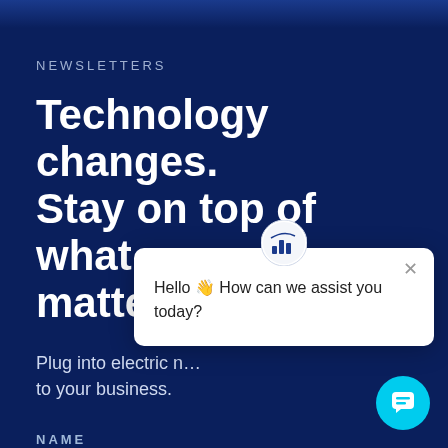NEWSLETTERS
Technology changes. Stay on top of what matters.
Plug into electric news that matters to your business.
NAME
EMAIL
[Figure (screenshot): Chat popup overlay with logo icon at top, close X button, and message: Hello 👋 How can we assist you today?]
[Figure (illustration): Cyan circular chat button with speech bubble icon in bottom right corner]